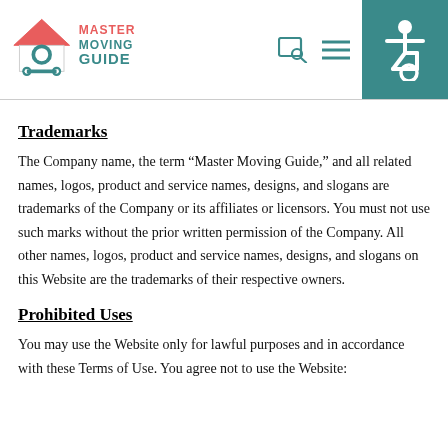Master Moving Guide
Trademarks
The Company name, the term “Master Moving Guide,” and all related names, logos, product and service names, designs, and slogans are trademarks of the Company or its affiliates or licensors. You must not use such marks without the prior written permission of the Company. All other names, logos, product and service names, designs, and slogans on this Website are the trademarks of their respective owners.
Prohibited Uses
You may use the Website only for lawful purposes and in accordance with these Terms of Use. You agree not to use the Website: